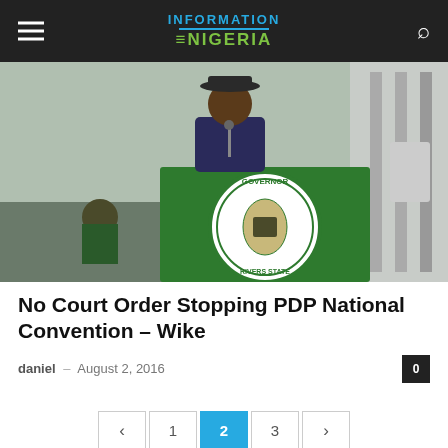Information Nigeria
[Figure (photo): A man in a dark suit and hat speaking at a podium with a green 'Governor Rivers State' seal/lectern in front of him, with a microphone and crowd in background.]
No Court Order Stopping PDP National Convention – Wike
daniel – August 2, 2016
0